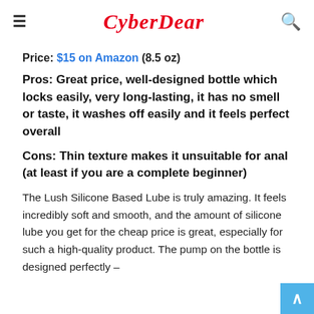CyberDear
Price: $15 on Amazon (8.5 oz)
Pros: Great price, well-designed bottle which locks easily, very long-lasting, it has no smell or taste, it washes off easily and it feels perfect overall
Cons: Thin texture makes it unsuitable for anal (at least if you are a complete beginner)
The Lush Silicone Based Lube is truly amazing. It feels incredibly soft and smooth, and the amount of silicone lube you get for the cheap price is great, especially for such a high-quality product. The pump on the bottle is designed perfectly –